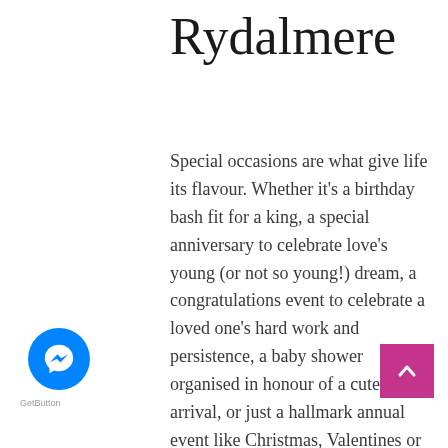Rydalmere
Special occasions are what give life its flavour. Whether it's a birthday bash fit for a king, a special anniversary to celebrate love's young (or not so young!) dream, a congratulations event to celebrate a loved one's hard work and persistence, a baby shower organised in honour of a cute new arrival, or just a hallmark annual event like Christmas, Valentines or Mothers Day – these moments are where memories are made! The good thing about flowers is that they represent a universal language of love, a way of showing everything from adoration to sympathy. If you're looking to order flowers online in Rydalmere